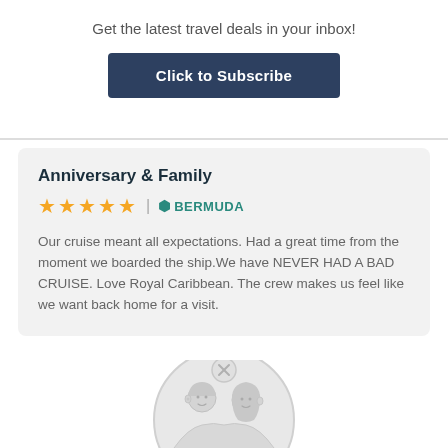Get the latest travel deals in your inbox!
Click to Subscribe
Anniversary & Family
★★★★★ | 📍 BERMUDA
Our cruise meant all expectations. Had a great time from the moment we boarded the ship.We have NEVER HAD A BAD CRUISE. Love Royal Caribbean. The crew makes us feel like we want back home for a visit.
[Figure (illustration): Illustrated avatar circle showing a couple (man and woman) with a small X badge icon at the top]